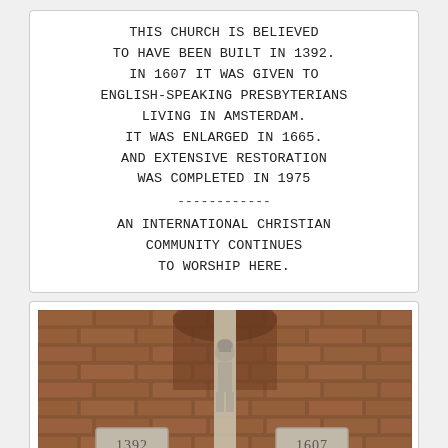THIS CHURCH IS BELIEVED TO HAVE BEEN BUILT IN 1392. IN 1607 IT WAS GIVEN TO ENGLISH-SPEAKING PRESBYTERIANS LIVING IN AMSTERDAM. IT WAS ENLARGED IN 1665. AND EXTENSIVE RESTORATION WAS COMPLETED IN 1975 ------------ AN INTERNATIONAL CHRISTIAN COMMUNITY CONTINUES TO WORSHIP HERE.
[Figure (photo): Photo of brickwork over the door of the Engelse Kerk in Amsterdam, showing a stone statue/pillar in a niche flanked by two stone plaques inscribed with dates 1392 and 1607.]
Over the door of the Engelse Kerk